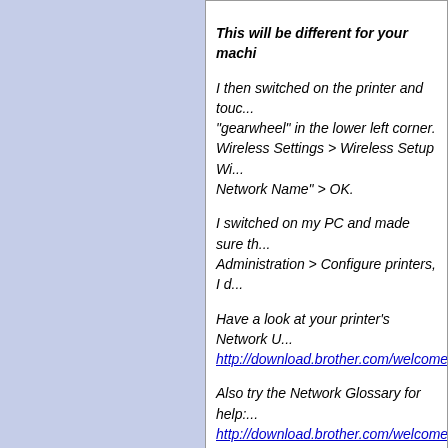This will be different for your machi...

I then switched on the printer and touc... "gearwheel" in the lower left corner. Wireless Settings > Wireless Setup Wi... Network Name" > OK.

I switched on my PC and made sure th... Administration > Configure printers, I d...

Have a look at your printer's Network U... http://download.brother.com/welcome/...

Also try the Network Glossary for help:... http://download.brother.com/welcome/...
Hi hydrurga,

If I follow all the instructions about the rout... have for printing in Windows, as that is wo... really reluctant to do this. Do I have to do it twice, separately for Win...

I remember when the guy came to change ... long time getting my printer to work on the ... think!) When I originally installed my Brother print... support a lot of questions, and then it still t... at it to get it working.